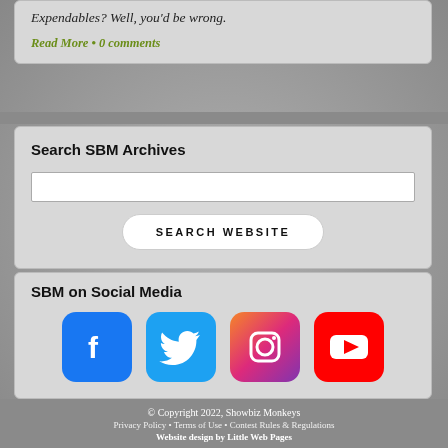Expendables? Well, you'd be wrong.
Read More • 0 comments
Search SBM Archives
[Figure (other): Search input box and Search Website button]
SBM on Social Media
[Figure (other): Social media icons: Facebook, Twitter, Instagram, YouTube]
© Copyright 2022, Showbiz Monkeys
Privacy Policy • Terms of Use • Contest Rules & Regulations
Website design by Little Web Pages